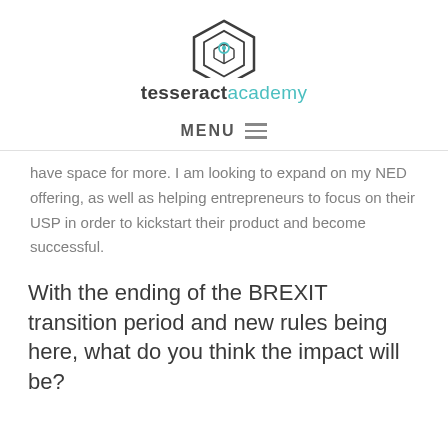tesseractacademy
MENU
have space for more. I am looking to expand on my NED offering, as well as helping entrepreneurs to focus on their USP in order to kickstart their product and become successful.
With the ending of the BREXIT transition period and new rules being here, what do you think the impact will be?